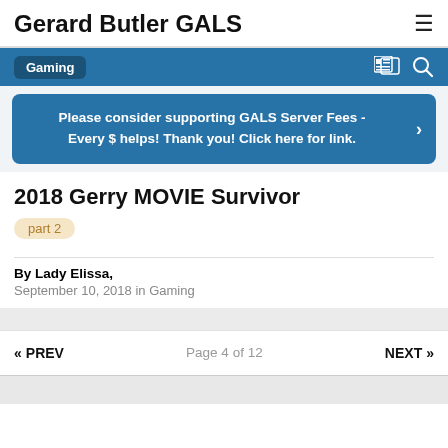Gerard Butler GALS
Gaming
Please consider supporting GALS Server Fees - Every $ helps! Thank you! Click here for link.
2018 Gerry MOVIE Survivor
part 2
By Lady Elissa,
September 10, 2018 in Gaming
« PREV   Page 4 of 12   NEXT »